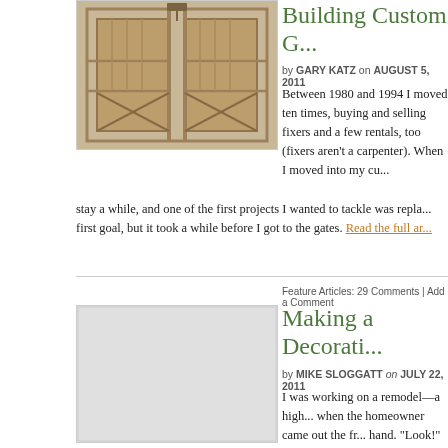[Figure (photo): Photo of wooden cabinet or gate frame construction, showing timber framing with cross members]
Building Custom G...
by GARY KATZ on AUGUST 5, 2011
Between 1980 and 1994 I moved ten times, buying and selling fixers and a few rentals, too (fixers aren't a problem when you're a carpenter). When I moved into my cu...
stay a while, and one of the first projects I wanted to tackle was repla... first goal, but it took a while before I got to the gates. Read the full ar...
Feature Articles: 29 Comments | Add a Comment
[Figure (photo): Blank or lightly colored placeholder image for second article]
Making a Decorati...
by MIKE SLOGGATT on JULY 22, 2011
I was working on a remodel—a high... when the homeowner came out the fr... hand. "Look!" she said. "This is exac... door!" She tilted the picture toward me: a handsome Greek Revival p... sunburst. "It's going to cost you," I told her. "How much?" she asked...